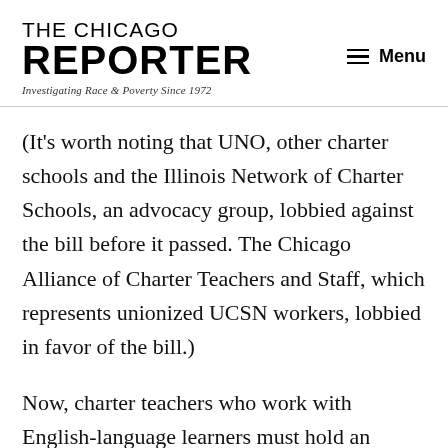THE CHICAGO REPORTER
Investigating Race & Poverty Since 1972
(It’s worth noting that UNO, other charter schools and the Illinois Network of Charter Schools, an advocacy group, lobbied against the bill before it passed. The Chicago Alliance of Charter Teachers and Staff, which represents unionized UCSN workers, lobbied in favor of the bill.)
Now, charter teachers who work with English-language learners must hold an endorsement in bilingual education or English as a Second Language (ESL). Both credentials require six to eight courses and about three months of classroom time with English-language